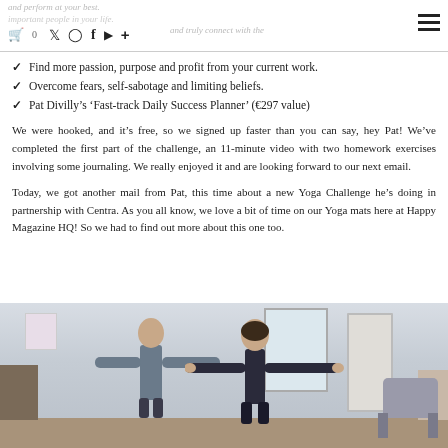and perform at your best. [nav icons] deeply connect with the important people in your life.
✔ Find more passion, purpose and profit from your current work.
✔ Overcome fears, self-sabotage and limiting beliefs.
✔ Pat Divilly's 'Fast-track Daily Success Planner' (€297 value)
We were hooked, and it's free, so we signed up faster than you can say, hey Pat! We've completed the first part of the challenge, an 11-minute video with two homework exercises involving some journaling. We really enjoyed it and are looking forward to our next email.
Today, we got another mail from Pat, this time about a new Yoga Challenge he's doing in partnership with Centra. As you all know, we love a bit of time on our Yoga mats here at Happy Magazine HQ! So we had to find out more about this one too.
[Figure (photo): Two people doing a yoga pose (warrior/T-pose) with arms outstretched, in a bright room interior. A man stands behind a woman, both with arms extended to sides.]